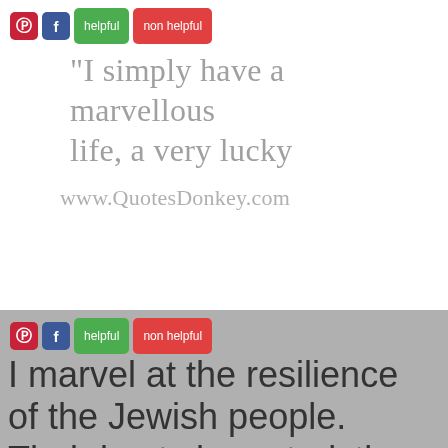[Figure (screenshot): Social sharing buttons: Pinterest (red), Facebook (blue), helpful (green), non helpful (red)]
"I simply have a marvellous life, a very lucky
www.QuotesDonkey.com
[Figure (screenshot): Social sharing buttons: Pinterest (red), Facebook (blue), helpful (green), non helpful (red) — second bar]
I marvel at the resilience of the Jewish people. Their best characteristic is their desire to